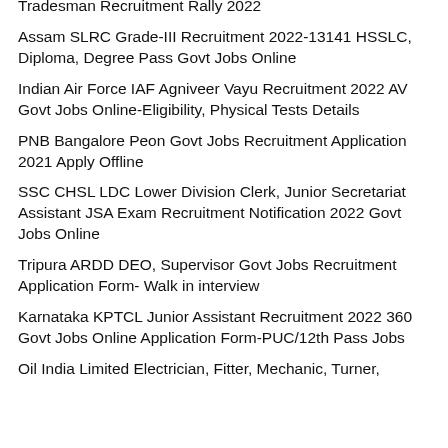Tradesman Recruitment Rally 2022
Assam SLRC Grade-III Recruitment 2022-13141 HSSLC, Diploma, Degree Pass Govt Jobs Online
Indian Air Force IAF Agniveer Vayu Recruitment 2022 AV Govt Jobs Online-Eligibility, Physical Tests Details
PNB Bangalore Peon Govt Jobs Recruitment Application 2021 Apply Offline
SSC CHSL LDC Lower Division Clerk, Junior Secretariat Assistant JSA Exam Recruitment Notification 2022 Govt Jobs Online
Tripura ARDD DEO, Supervisor Govt Jobs Recruitment Application Form- Walk in interview
Karnataka KPTCL Junior Assistant Recruitment 2022 360 Govt Jobs Online Application Form-PUC/12th Pass Jobs
Oil India Limited Electrician, Fitter, Mechanic, Turner,